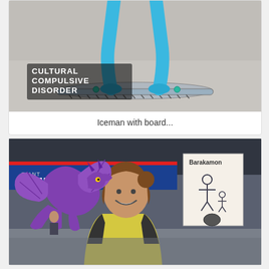[Figure (photo): A blue-skinned Iceman figure/cosplay character standing on an ice board, with 'CULTURAL COMPULSIVE DISORDER' watermark text visible in lower left of photo.]
Iceman with board...
[Figure (photo): A woman smiling at a Comic Con event, wearing a costume with a large purple dragon (Spyro the Dragon) prop on her shoulder. A 'NYCC COMIC CON' banner and a 'Barakamon' poster are visible in the background.]